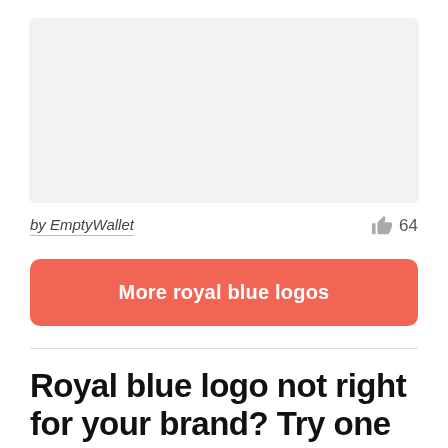[Figure (other): Gray placeholder image area representing a logo preview]
by EmptyWallet
64
More royal blue logos
Royal blue logo not right for your brand? Try one of these: